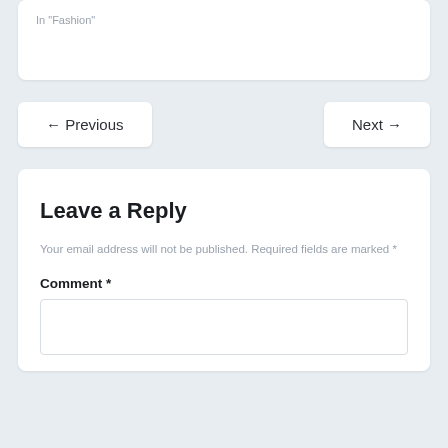In "Fashion"
← Previous
Next →
Leave a Reply
Your email address will not be published. Required fields are marked *
Comment *